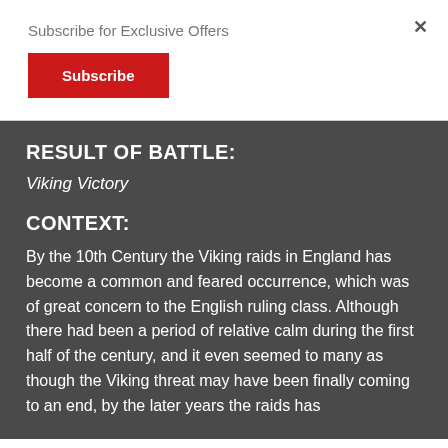Subscribe for Exclusive Offers
Subscribe
×
RESULT OF BATTLE:
Viking Victory
CONTEXT:
By the 10th Century the Viking raids in England has become a common and feared occurrence, which was of great concern to the English ruling class. Although there had been a period of relative calm during the first half of the century, and it even seemed to many as though the Viking threat may have been finally coming to an end, by the later years the raids has